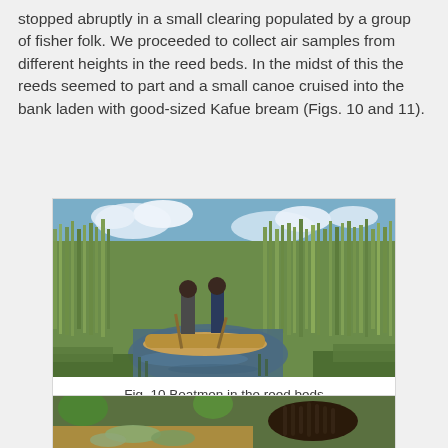stopped abruptly in a small clearing populated by a group of fisher folk. We proceeded to collect air samples from different heights in the reed beds. In the midst of this the reeds seemed to part and a small canoe cruised into the bank laden with good-sized Kafue bream (Figs. 10 and 11).
[Figure (photo): Two men standing in a small wooden canoe navigating a narrow water channel through tall green reed beds, with a partly cloudy blue sky visible above.]
Fig. 10 Boatmen in the reed beds
[Figure (photo): Close-up photo showing fish (Kafue bream) in a wooden canoe, with a person's braided hair visible and green vegetation in the background.]